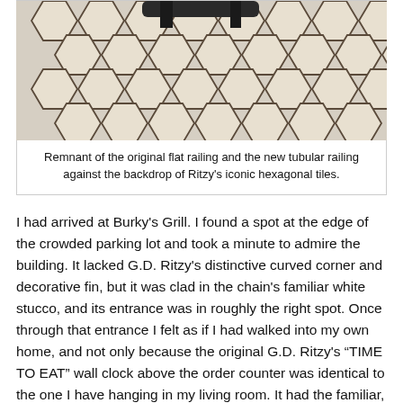[Figure (photo): Close-up photograph of hexagonal floor tiles with dark grout, with a person's feet and what appears to be railing hardware visible at the top.]
Remnant of the original flat railing and the new tubular railing against the backdrop of Ritzy's iconic hexagonal tiles.
I had arrived at Burky's Grill. I found a spot at the edge of the crowded parking lot and took a minute to admire the building. It lacked G.D. Ritzy's distinctive curved corner and decorative fin, but it was clad in the chain's familiar white stucco, and its entrance was in roughly the right spot. Once through that entrance I felt as if I had walked into my own home, and not only because the original G.D. Ritzy's “TIME TO EAT” wall clock above the order counter was identical to the one I have hanging in my living room. It had the familiar, inviting look and feel of a 1980s vintage Ritzy's interior complete with the original tile, furniture, and lighting. There were minor changes here and there. There